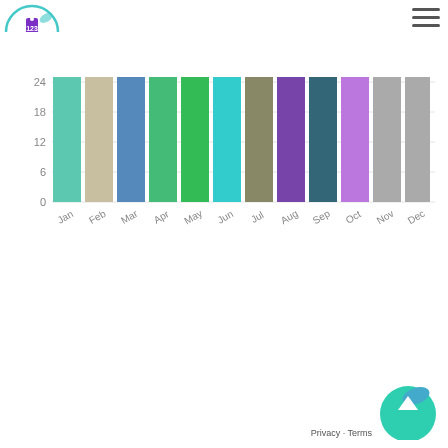[Figure (bar-chart): Monthly bar chart]